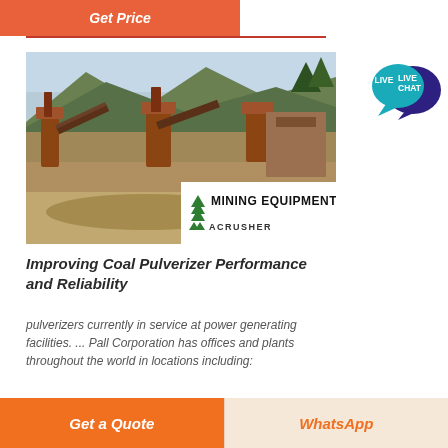Get Price
[Figure (photo): Mining equipment facility with conveyor belts and heavy machinery in a mountainous outdoor setting. Overlay sign reads 'MINING EQUIPMENT ACRUSHER' with green chevron logos.]
Improving Coal Pulverizer Performance and Reliability
pulverizers currently in service at power generating facilities. ... Pall Corporation has offices and plants throughout the world in locations including:
[Figure (logo): Live Chat speech bubble icon with teal/dark blue colors]
Get a Quote | WhatsApp